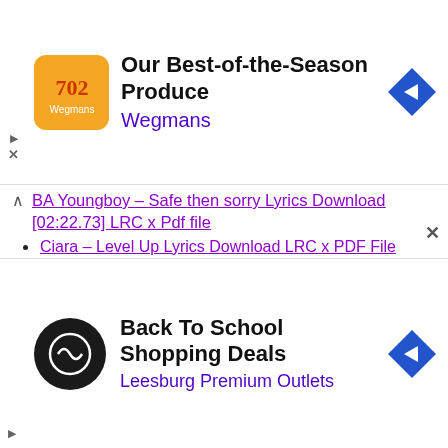[Figure (other): Ad banner: Our Best-of-the-Season Produce by Wegmans with logo and navigation arrow]
BA Youngboy – Safe then sorry Lyrics Download [02:22.73] LRC x Pdf file
Ciara – Level Up Lyrics Download LRC x PDF File
Prem Dhillon – OG Lyrics Download LRC x PDF File
Ikka – Sookha Lyrics Download LRC x PDF File
Offset ft Cardi B – Clout Lyrics Download [03:25.73] LRC x PDF file
Eazy-E – Foe Tha Love of $ Lyrics Download LRC x PDF File
Mellow D – Bhool Bhulaiyaa 2 Title Track Lyrics Download LRC x PDF File
[Figure (other): Ad banner: Back To School Shopping Deals by Leesburg Premium Outlets with logo and navigation arrow]